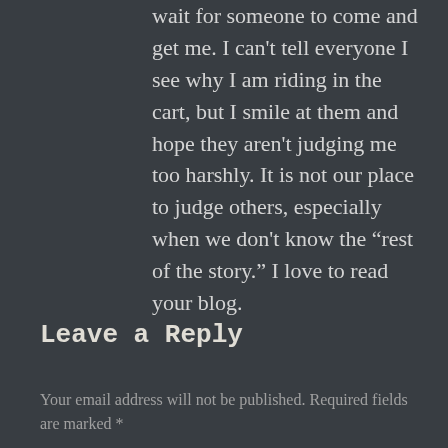wait for someone to come and get me. I can't tell everyone I see why I am riding in the cart, but I smile at them and hope they aren't judging me too harshly. It is not our place to judge others, especially when we don't know the “rest of the story.” I love to read your blog.
Leave a Reply
Your email address will not be published. Required fields are marked *